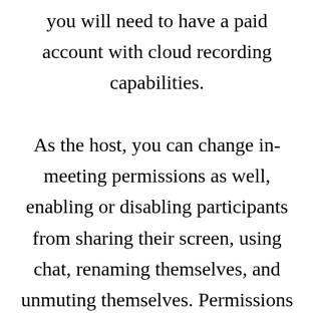you will need to have a paid account with cloud recording capabilities. As the host, you can change in-meeting permissions as well, enabling or disabling participants from sharing their screen, using chat, renaming themselves, and unmuting themselves. Permissions can also be changed for each user role under Role Privilege Settings. You can change which controls each user role has access to and the privileges they have in their role. With the mobile app